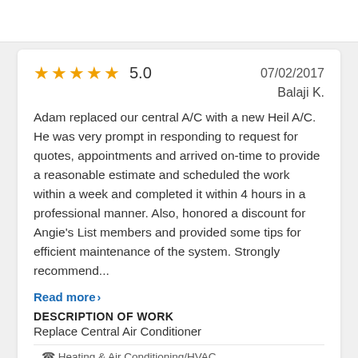5.0   07/02/2017
Balaji K.
Adam replaced our central A/C with a new Heil A/C. He was very prompt in responding to request for quotes, appointments and arrived on-time to provide a reasonable estimate and scheduled the work within a week and completed it within 4 hours in a professional manner. Also, honored a discount for Angie's List members and provided some tips for efficient maintenance of the system. Strongly recommend...
Read more >
DESCRIPTION OF WORK
Replace Central Air Conditioner